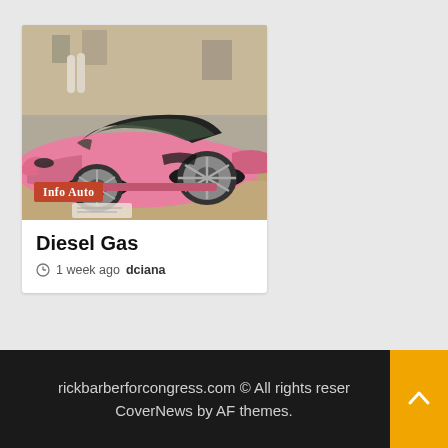[Figure (photo): Pink Lamborghini sports car (convertible) parked on a street, photographed from the front-side angle. Urban background with buildings.]
Info Auto
Diesel Gas
1 week ago  dciana
rickbarberforcongress.com © All rights reserved. CoverNews by AF themes.